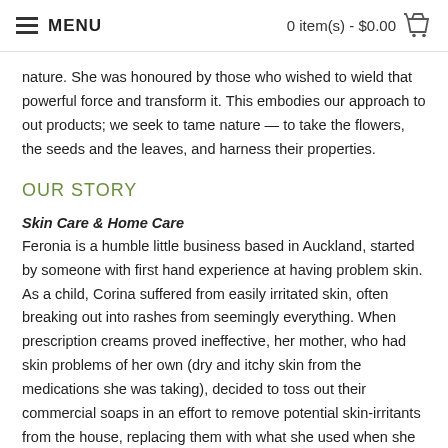MENU | 0 item(s) - $0.00
nature. She was honoured by those who wished to wield that powerful force and transform it. This embodies our approach to out products; we seek to tame nature — to take the flowers, the seeds and the leaves, and harness their properties.
OUR STORY
Skin Care & Home Care
Feronia is a humble little business based in Auckland, started by someone with first hand experience at having problem skin. As a child, Corina suffered from easily irritated skin, often breaking out into rashes from seemingly everything. When prescription creams proved ineffective, her mother, who had skin problems of her own (dry and itchy skin from the medications she was taking), decided to toss out their commercial soaps in an effort to remove potential skin-irritants from the house, replacing them with what she used when she was younger and without skin problems — simple soap bars made by hand, from just lye and oil, by her mother. The switch was so effective that they expanded into making natural moisturising creams, laundry powder, and even household